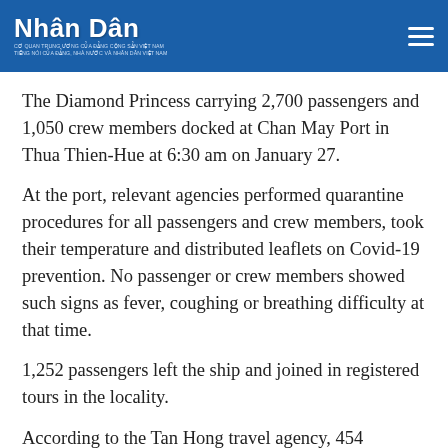Nhân Dân
The Diamond Princess carrying 2,700 passengers and 1,050 crew members docked at Chan May Port in Thua Thien-Hue at 6:30 am on January 27.
At the port, relevant agencies performed quarantine procedures for all passengers and crew members, took their temperature and distributed leaflets on Covid-19 prevention. No passenger or crew members showed such signs as fever, coughing or breathing difficulty at that time.
1,252 passengers left the ship and joined in registered tours in the locality.
According to the Tan Hong travel agency, 454 passengers of the cruise participated in two tours of Hue city during